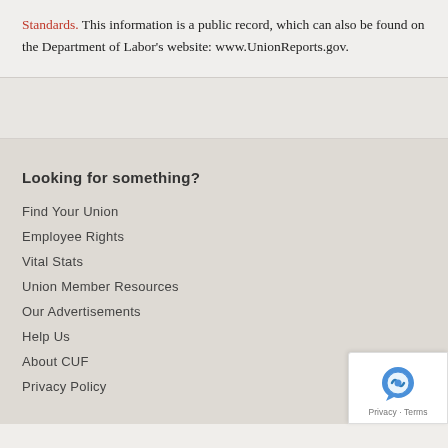Standards. This information is a public record, which can also be found on the Department of Labor's website: www.UnionReports.gov.
Looking for something?
Find Your Union
Employee Rights
Vital Stats
Union Member Resources
Our Advertisements
Help Us
About CUF
Privacy Policy